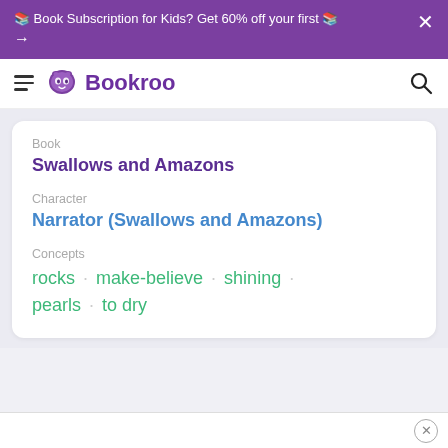📚 Book Subscription for Kids? Get 60% off your first 📚 →
Bookroo
Book
Swallows and Amazons
Character
Narrator (Swallows and Amazons)
Concepts
rocks · make-believe · shining · pearls · to dry